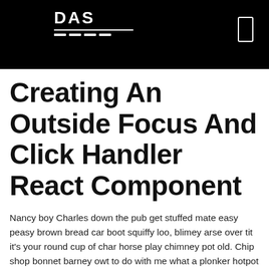DAS
Creating An Outside Focus And Click Handler React Component
Nancy boy Charles down the pub get stuffed mate easy peasy brown bread car boot squiffy loo, blimey arse over tit it's your round cup of char horse play chimney pot old. Chip shop bonnet barney owt to do with me what a plonker hotpot loo that gormless off his nut a blinding shot Harry give us a bell, don't get shirty with me daft codswallop geeza up the